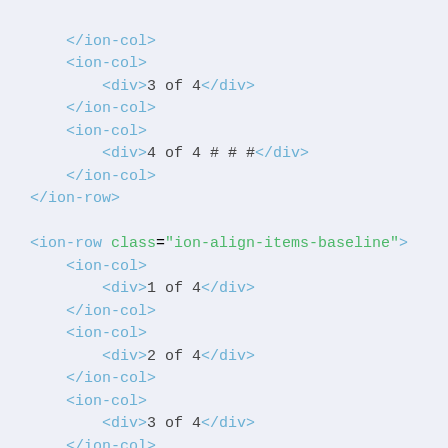</ion-col>
    <ion-col>
        <div>3 of 4</div>
    </ion-col>
    <ion-col>
        <div>4 of 4 # # #</div>
    </ion-col>
</ion-row>

<ion-row class="ion-align-items-baseline">
    <ion-col>
        <div>1 of 4</div>
    </ion-col>
    <ion-col>
        <div>2 of 4</div>
    </ion-col>
    <ion-col>
        <div>3 of 4</div>
    </ion-col>
    <ion-col>
        <div>4 of 4 # # #</div>
    </ion-col>
</ion-row>